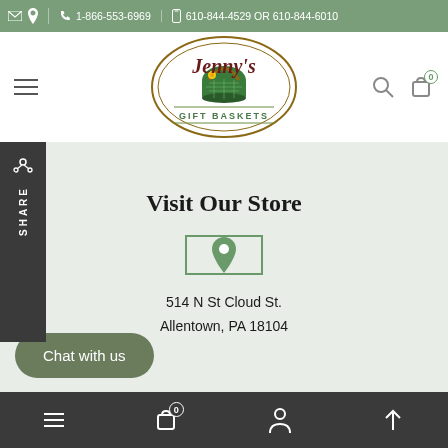✉ f  📞 1-866-553-6969  📱 610-844-4529 OR 610-844-6010
[Figure (logo): Jenny's Gift Baskets logo — oval border with basket illustration, script text 'Jenny's' and 'GIFT BASKETS' below in green]
Visit Our Store
[Figure (other): Map pin / location icon inside a green-bordered square box]
514 N St Cloud St.
Allentown, PA 18104
Chat with us